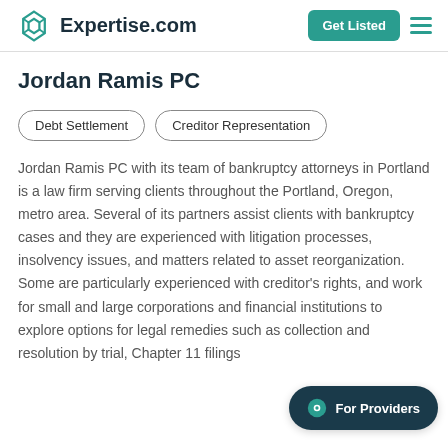Expertise.com | Get Listed
Jordan Ramis PC
Debt Settlement
Creditor Representation
Jordan Ramis PC with its team of bankruptcy attorneys in Portland is a law firm serving clients throughout the Portland, Oregon, metro area. Several of its partners assist clients with bankruptcy cases and they are experienced with litigation processes, insolvency issues, and matters related to asset reorganization. Some are particularly experienced with creditor's rights, and work for small and large corporations and financial institutions to explore options for legal remedies such as collection and resolution by trial, Chapter 11 filings
For Providers